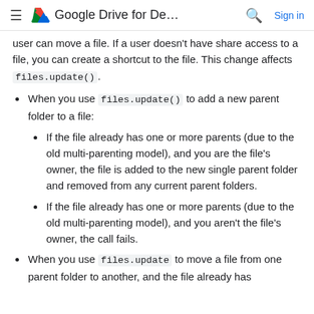≡  Google Drive for De...  🔍  Sign in
user can move a file. If a user doesn't have share access to a file, you can create a shortcut to the file. This change affects files.update().
When you use files.update() to add a new parent folder to a file:
If the file already has one or more parents (due to the old multi-parenting model), and you are the file's owner, the file is added to the new single parent folder and removed from any current parent folders.
If the file already has one or more parents (due to the old multi-parenting model), and you aren't the file's owner, the call fails.
When you use files.update to move a file from one parent folder to another, and the file already has